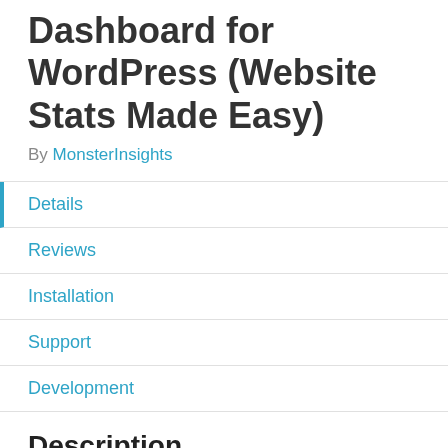Dashboard for WordPress (Website Stats Made Easy)
By MonsterInsights
Details
Reviews
Installation
Support
Development
Description
GOOGLE ANALYTICS PLUGIN FOR WORDPRESS